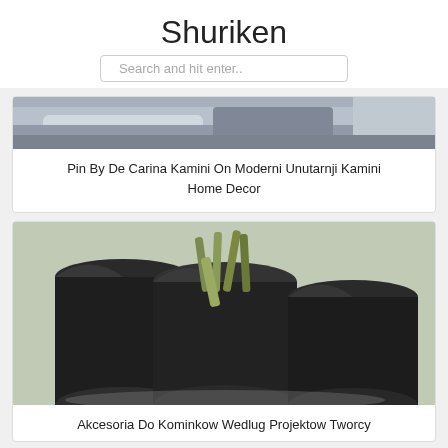Shuriken
Search and hit enter..
[Figure (photo): Partial view of a living room interior with a sofa and dark furniture, cropped at the top]
Pin By De Carina Kamini On Moderni Unutarnji Kamini Home Decor
[Figure (photo): Three black cylindrical/tubular modern fireplace accessory holders, one filled with decorative sticks, on a light background]
Akcesoria Do Kominkow Wedlug Projektow Tworcy